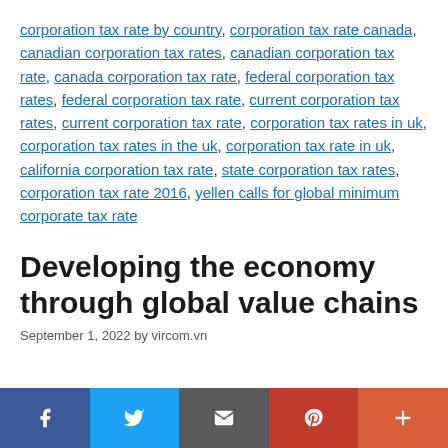corporation tax rate by country, corporation tax rate canada, canadian corporation tax rates, canadian corporation tax rate, canada corporation tax rate, federal corporation tax rates, federal corporation tax rate, current corporation tax rates, current corporation tax rate, corporation tax rates in uk, corporation tax rates in the uk, corporation tax rate in uk, california corporation tax rate, state corporation tax rates, corporation tax rate 2016, yellen calls for global minimum corporate tax rate
Developing the economy through global value chains
September 1, 2022 by vircom.vn